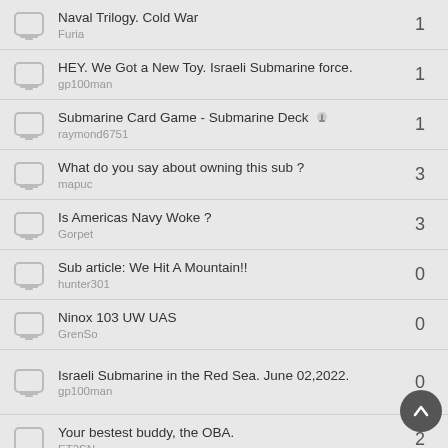Naval Trilogy. Cold War
Furia
1
HEY. We Got a New Toy. Israeli Submarine force.
gp100man
1
Submarine Card Game - Submarine Deck
raymond6751
1
What do you say about owning this sub ?
mapuc
3
Is Americas Navy Woke ?
Gorpet
3
Sub article: We Hit A Mountain!!
hunter301
0
Ninox 103 UW UAS
GrenSo
0
Israeli Submarine in the Red Sea. June 02,2022.
gp100man
0
Your bestest buddy, the OBA.
ET2SN
2